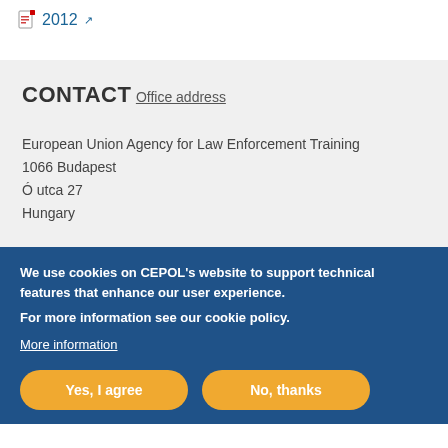2012
CONTACT
Office address
European Union Agency for Law Enforcement Training
1066 Budapest
Ó utca 27
Hungary
We use cookies on CEPOL's website to support technical features that enhance our user experience.
For more information see our cookie policy.
More information
Yes, I agree
No, thanks